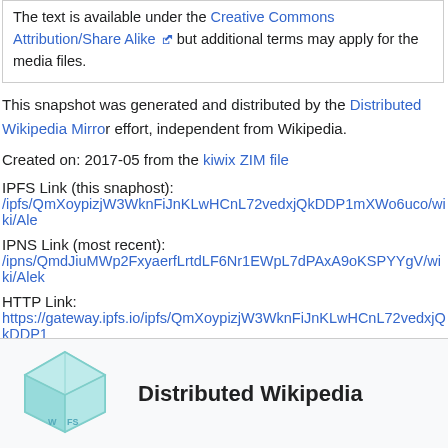The text is available under the Creative Commons Attribution/Share Alike but additional terms may apply for the media files.
This snapshot was generated and distributed by the Distributed Wikipedia Mirror effort, independent from Wikipedia.
Created on: 2017-05 from the kiwix ZIM file
IPFS Link (this snaphost):
/ipfs/QmXoypizjW3WknFiJnKLwHCnL72vedxjQkDDP1mXWo6uco/wiki/Ale
IPNS Link (most recent):
/ipns/QmdJiuMWp2FxyaerfLrtdLF6Nr1EWpL7dPAxA9oKSPYYgV/wiki/Alek
HTTP Link:
https://gateway.ipfs.io/ipfs/QmXoypizjW3WknFiJnKLwHCnL72vedxjQkDDP1
Download IPFS Here
[Figure (logo): Distributed Wikipedia logo - teal/cyan geometric cube shape with 'Wikipedia' text]